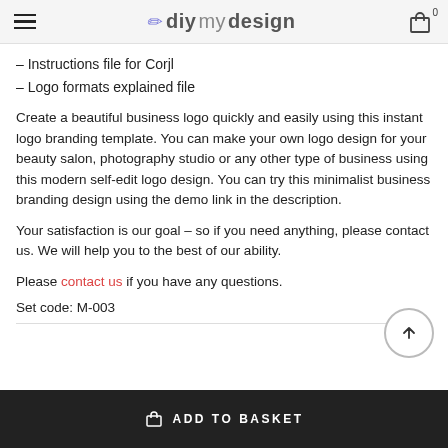diymydesign
– Instructions file for Corjl
– Logo formats explained file
Create a beautiful business logo quickly and easily using this instant logo branding template. You can make your own logo design for your beauty salon, photography studio or any other type of business using this modern self-edit logo design. You can try this minimalist business branding design using the demo link in the description.
Your satisfaction is our goal – so if you need anything, please contact us. We will help you to the best of our ability.
Please contact us if you have any questions.
Set code: M-003
ADD TO BASKET